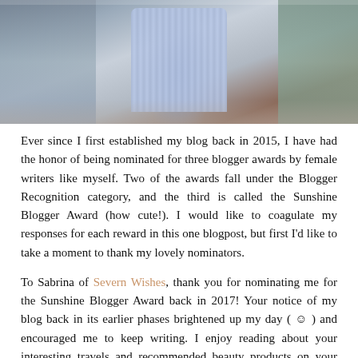[Figure (photo): A person in a blue striped shirt viewed from behind, standing on a rooftop or elevated area with buildings and rooftops visible in the background.]
Ever since I first established my blog back in 2015, I have had the honor of being nominated for three blogger awards by female writers like myself. Two of the awards fall under the Blogger Recognition category, and the third is called the Sunshine Blogger Award (how cute!). I would like to coagulate my responses for each reward in this one blogpost, but first I'd like to take a moment to thank my lovely nominators.
To Sabrina of Severn Wishes, thank you for nominating me for the Sunshine Blogger Award back in 2017! Your notice of my blog back in its earlier phases brightened up my day ( ☺ ) and encouraged me to keep writing. I enjoy reading about your interesting travels and recommended beauty products on your lifestyle blog.
To Rasha Akar of Simply Rasha, thank you for taking the time to read my blog and nominate me for Blogger Recognition! Your blog